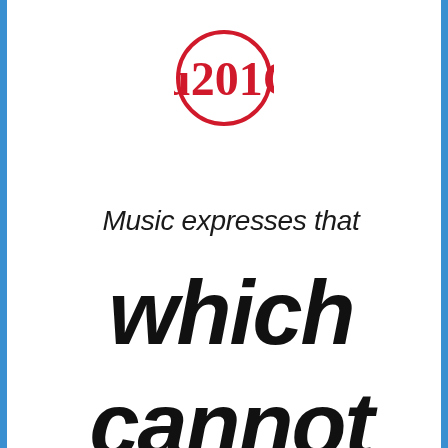[Figure (illustration): Red circle outline with a red double open-quotation mark symbol inside, centered at top of page]
Music expresses that which cannot
which